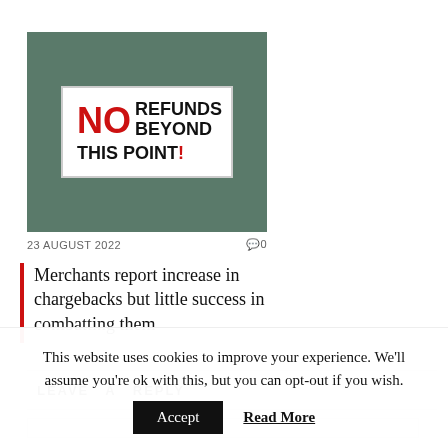[Figure (photo): Photo of a white sign on a teal/grey wall reading 'NO REFUNDS BEYOND THIS POINT!' with NO in red and the rest in black]
23 AUGUST 2022   💬 0
Merchants report increase in chargebacks but little success in combatting them
LEAVE A REPLY
This website uses cookies to improve your experience. We'll assume you're ok with this, but you can opt-out if you wish.